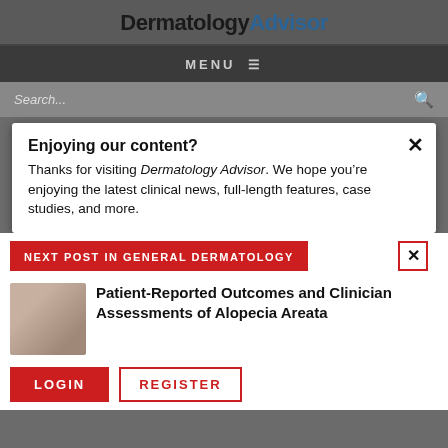DermatologyAdvisor
MENU
Search...
Enjoying our content?
Thanks for visiting Dermatology Advisor. We hope you’re enjoying the latest clinical news, full-length features, case studies, and more.
NEXT POST IN GENERAL DERMATOLOGY
Patient-Reported Outcomes and Clinician Assessments of Alopecia Areata
LOGIN
REGISTER